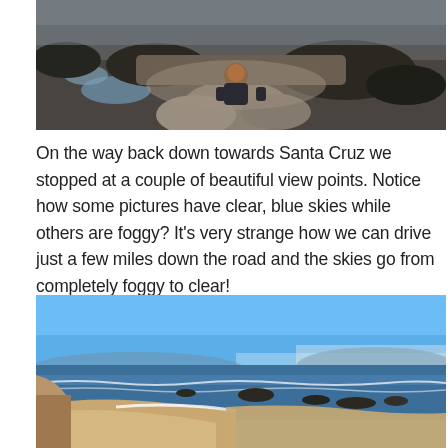[Figure (photo): A person with reddish hair wearing a dark jacket sits on a large rock at a rocky coastal tidepools area, viewed from behind, with dark seaweed-covered rocks and puddles in the background under an overcast sky.]
On the way back down towards Santa Cruz we stopped at a couple of beautiful view points. Notice how some pictures have clear, blue skies while others are foggy? It's very strange how we can drive just a few miles down the road and the skies go from completely foggy to clear!
[Figure (photo): A wide panoramic coastal view under a clear bright blue sky, showing a sandy beach curving along the shoreline with ocean waves, rocky outcrops in the water, and coastal cliffs on the left, taken near Santa Cruz, California.]